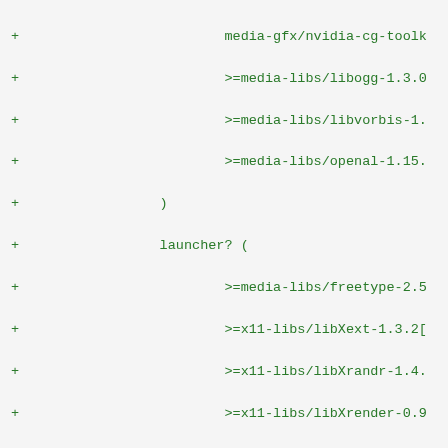+ media-gfx/nvidia-cg-toolk
+ >=media-libs/libogg-1.3.0
+ >=media-libs/libvorbis-1.
+ >=media-libs/openal-1.15.
+ )
+ launcher? (
+ >=media-libs/freetype-2.5
+ >=x11-libs/libXext-1.3.2[
+ >=x11-libs/libXrandr-1.4.
+ >=x11-libs/libXrender-0.9
+ >=x11-libs/libxcb-1.9.1[a
+ )
+ )
+ x86? (
+ x11-libs/libX11
+ !bundled-libs? (
+ media-gfx/nvidia-cg-toolk
+ media-libs/libogg
+ media-libs/libvorbis
+ media-libs/openal
+ )
+ launcher? (